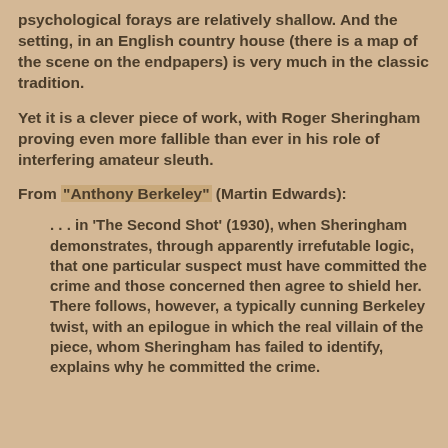psychological forays are relatively shallow. And the setting, in an English country house (there is a map of the scene on the endpapers) is very much in the classic tradition.
Yet it is a clever piece of work, with Roger Sheringham proving even more fallible than ever in his role of interfering amateur sleuth.
From "Anthony Berkeley" (Martin Edwards):
. . . in 'The Second Shot' (1930), when Sheringham demonstrates, through apparently irrefutable logic, that one particular suspect must have committed the crime and those concerned then agree to shield her. There follows, however, a typically cunning Berkeley twist, with an epilogue in which the real villain of the piece, whom Sheringham has failed to identify, explains why he committed the crime.